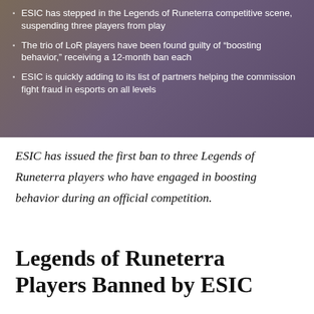ESIC has stepped in the Legends of Runeterra competitive scene, suspending three players from play
The trio of LoR players have been found guilty of "boosting behavior," receiving a 12-month ban each
ESIC is quickly adding to its list of partners helping the commission fight fraud in esports on all levels
ESIC has issued the first ban to three Legends of Runeterra players who have engaged in boosting behavior during an official competition.
Legends of Runeterra Players Banned by ESIC